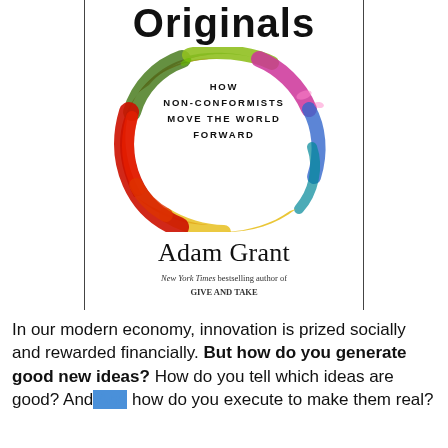[Figure (illustration): Book cover of 'Originals: How Non-Conformists Move the World Forward' by Adam Grant. Features partial title 'Originals' at top, a colorful circular paint splash in red, green, yellow, pink, blue forming a ring with subtitle text inside, author name 'Adam Grant' below, and tagline 'New York Times bestselling author of GIVE AND TAKE'.]
In our modern economy, innovation is prized socially and rewarded financially. But how do you generate good new ideas? How do you tell which ideas are good? And how do you execute to make them real?